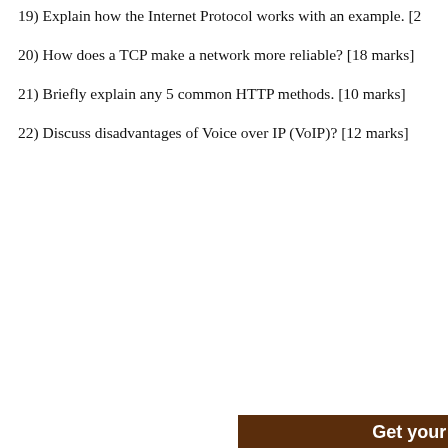19) Explain how the Internet Protocol works with an example. [2
20) How does a TCP make a network more reliable? [18 marks]
21) Briefly explain any 5 common HTTP methods. [10 marks]
22) Discuss disadvantages of Voice over IP (VoIP)? [12 marks]
[Figure (infographic): Advertisement banner: 'Get your Assignment' with RESEARCHER + WRITER sections, arrows, 'Provides Sources & ideas', 'Completes your Paper' text, student holding A+ sign, 'PERFECT' text, green ORDER button, Message button. Partially cropped on right side.]